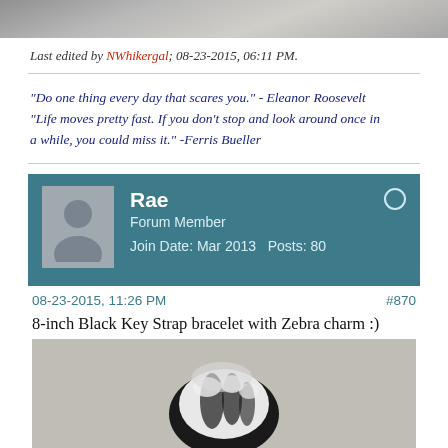[Figure (photo): Top portion of a photo cropped at top of page]
Last edited by NWhikergal; 08-23-2015, 06:11 PM.
"Do one thing every day that scares you." - Eleanor Roosevelt "Life moves pretty fast. If you don't stop and look around once in a while, you could miss it." -Ferris Bueller
[Figure (photo): Forum user card for Rae, Forum Member, Join Date: Mar 2013, Posts: 80, with avatar placeholder]
08-23-2015, 11:26 PM    #870
8-inch Black Key Strap bracelet with Zebra charm :)
[Figure (photo): Photo of a black and white zebra charm bracelet on a concrete surface]